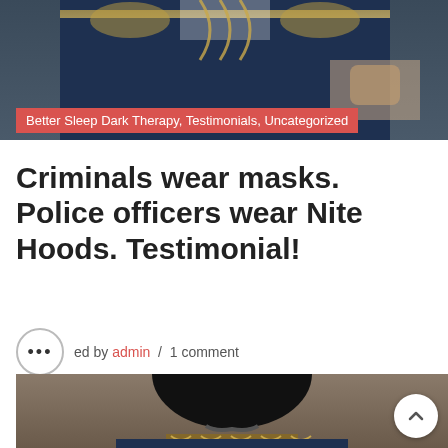[Figure (photo): Partial view of a person in military dress uniform with gold braided epaulettes and dark navy jacket, cropped at the top]
Better Sleep Dark Therapy, Testimonials, Uncategorized
Criminals wear masks. Police officers wear Nite Hoods. Testimonial!
...ed by admin / 1 comment
[Figure (photo): Man in military dress uniform wearing a black sleep hood covering his upper face and head, with a mustache visible, wearing gold-braided dark blue military jacket with medals and decorations]